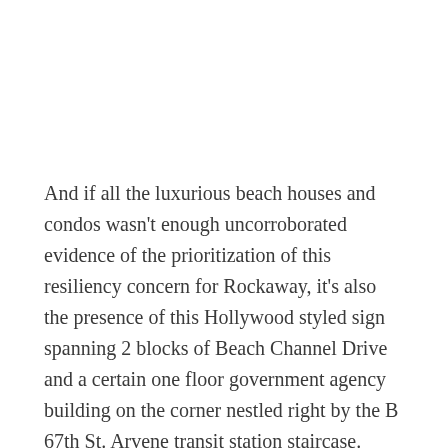And if all the luxurious beach houses and condos wasn't enough uncorroborated evidence of the prioritization of this resiliency concern for Rockaway, it's also the presence of this Hollywood styled sign spanning 2 blocks of Beach Channel Drive and a certain one floor government agency building on the corner nestled right by the B 67th St. Arvene transit station staircase.